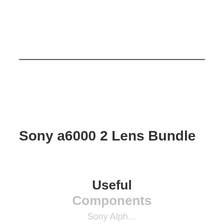Sony a6000 2 Lens Bundle
Useful Components
Sony Alph…